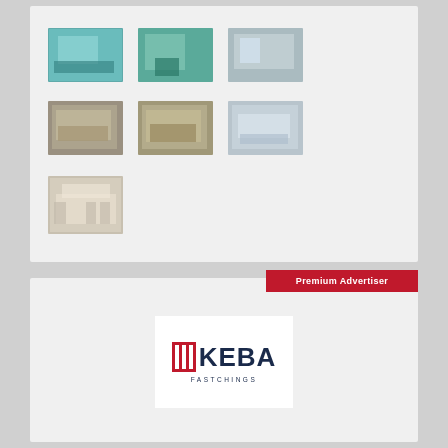[Figure (photo): Grid of 7 factory/facility photos showing manufacturing equipment, packaged goods, office space, and exterior building]
[Figure (logo): KEBA FASTCHINGS company logo with red striped square icon and dark blue text, shown inside a white panel on a light grey card with Premium Advertiser red badge in upper right]